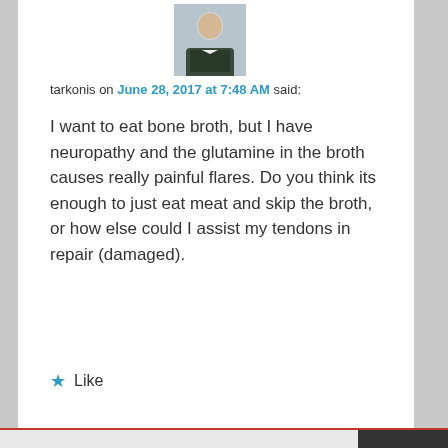[Figure (photo): Avatar photo of a person wearing a dark jacket and white shirt, posed against a light background]
tarkonis on June 28, 2017 at 7:48 AM said:
I want to eat bone broth, but I have neuropathy and the glutamine in the broth causes really painful flares. Do you think its enough to just eat meat and skip the broth, or how else could I assist my tendons in repair (damaged).
★ Like
Reply ↓
Privacy & Cookies: This site uses cookies. By continuing to use this website, you agree to their use.
To find out more, including how to control cookies, see here: Cookie Policy
Close and accept